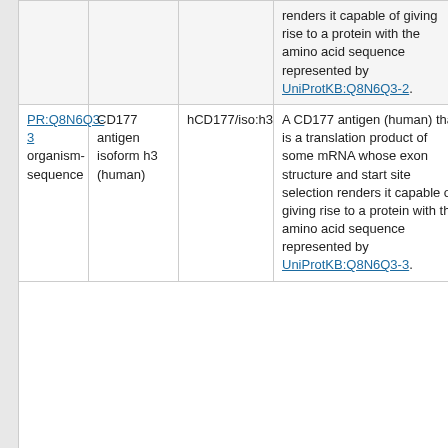|  | Name | Short Label | Definition |
| --- | --- | --- | --- |
|  |  |  | renders it capable of giving rise to a protein with the amino acid sequence represented by UniProtKB:Q8N6Q3-2. |
| PR:Q8N6Q3-3 organism-sequence | CD177 antigen isoform h3 (human) | hCD177/iso:h3 | A CD177 antigen (human) that is a translation product of some mRNA whose exon structure and start site selection renders it capable of giving rise to a protein with the amino acid sequence represented by UniProtKB:Q8N6Q3-3. |